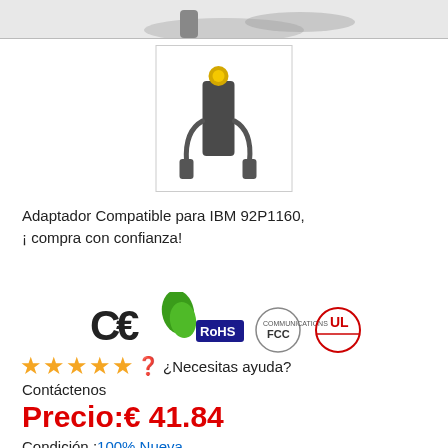[Figure (photo): Top portion of product image showing a power adapter cable on grey background]
[Figure (photo): Thumbnail image of IBM compatible power adapter/charger in dark grey color with yellow connector tip]
Adaptador Compatible para IBM 92P1160, ¡ compra con confianza!
[Figure (logo): Certification logos including CE, RoHS, FCC Communications, and UL marks]
★★★★★❓¿Necesitas ayuda? Contáctenos
Precio:€ 41.84
Condición :100% Nueva